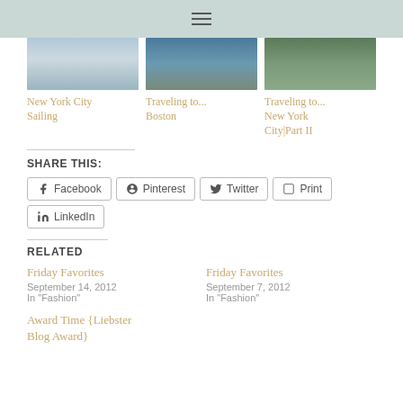≡
[Figure (photo): Three travel blog post thumbnails: New York City Sailing, Traveling to Boston, Traveling to New York City Part II]
New York City Sailing
Traveling to... Boston
Traveling to... New York City|Part II
SHARE THIS:
Facebook Pinterest Twitter Print LinkedIn
RELATED
Friday Favorites
September 14, 2012
In "Fashion"
Friday Favorites
September 7, 2012
In "Fashion"
Award Time {Liebster Blog Award}